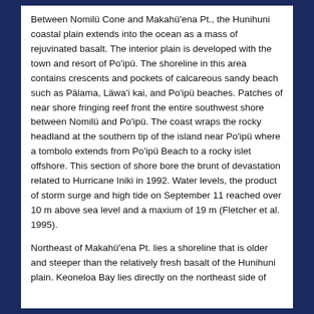Between Nomilü Cone and Makahü'ena Pt., the Hunihuni coastal plain extends into the ocean as a mass of rejuvinated basalt. The interior plain is developed with the town and resort of Po'ipü. The shoreline in this area contains crescents and pockets of calcareous sandy beach such as Pälama, Läwa'i kai, and Po'ipü beaches. Patches of near shore fringing reef front the entire southwest shore between Nomilü and Po'ipü. The coast wraps the rocky headland at the southern tip of the island near Po'ipü where a tombolo extends from Po'ipü Beach to a rocky islet offshore. This section of shore bore the brunt of devastation related to Hurricane Iniki in 1992. Water levels, the product of storm surge and high tide on September 11 reached over 10 m above sea level and a maxium of 19 m (Fletcher et al. 1995).
Northeast of Makahü'ena Pt. lies a shoreline that is older and steeper than the relatively fresh basalt of the Hunihuni plain. Keoneloa Bay lies directly on the northeast side of